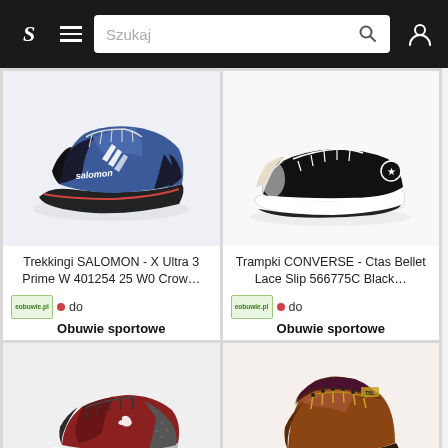S  ≡  Szukaj 🔍  👤
[Figure (photo): Blue and black Salomon X Ultra 3 trekking shoes on white background]
Trekkingi SALOMON - X Ultra 3 Prime W 401254 25 W0 Crow…
eobuwie.pl • do Obuwie sportowe
[Figure (photo): Black and white Converse Ctas Bellet Lace Slip canvas shoes on white background]
Trampki CONVERSE - Ctas Bellet Lace Slip 566775C Black…
eobuwie.pl • do Obuwie sportowe
[Figure (photo): Red and grey Under Armour sports sneakers on white/grey background]
[Figure (photo): Brown leather mid-cut hiking boots on white background]